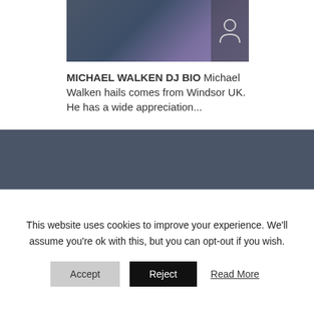[Figure (photo): A person wearing a blue jacket with a purple shirt, in front of a dark background. A circular person/user icon is visible in the top-right corner of the image.]
MICHAEL WALKEN DJ BIO Michael Walken hails comes from Windsor UK. He has a wide appreciation...
YOU MAY ALSO LIKE
[Figure (photo): A blurred photo showing what appears to be a person with curly dark hair against a blurred background.]
This website uses cookies to improve your experience. We'll assume you're ok with this, but you can opt-out if you wish.